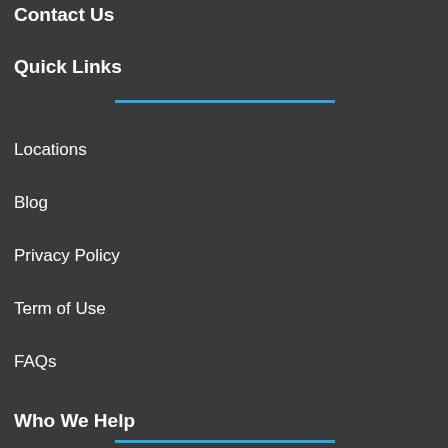Contact Us
Quick Links
Locations
Blog
Privacy Policy
Term of Use
FAQs
Who We Help